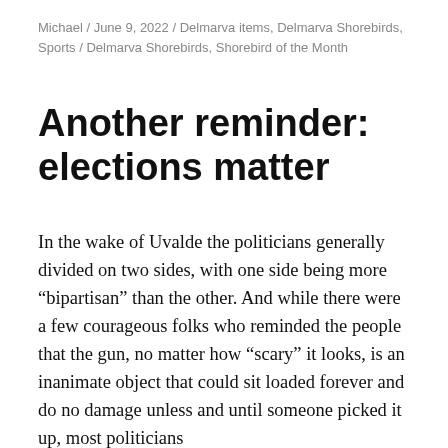Michael / June 9, 2022 / Delmarva items, Delmarva Shorebirds, Sports / Delmarva Shorebirds, Shorebird of the Month
Another reminder: elections matter
In the wake of Uvalde the politicians generally divided on two sides, with one side being more “bipartisan” than the other. And while there were a few courageous folks who reminded the people that the gun, no matter how “scary” it looks, is an inanimate object that could sit loaded forever and do no damage unless and until someone picked it up, most politicians